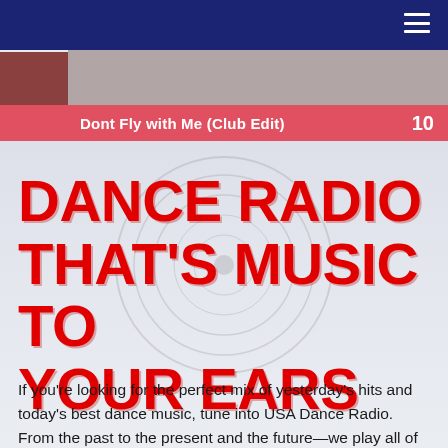Navigation bar with hamburger menu
[Figure (screenshot): Image strip showing a person photo behind the navigation bar]
Dont Fly with Me (Club Edit)
DANCE RADIO THAT'S MUSIC TO YOUR EARS
If you're looking for the perfect mix of yesterday's hits and today's best dance music, tune into USA Dance Radio. From the past to the present and the future—we play all of your